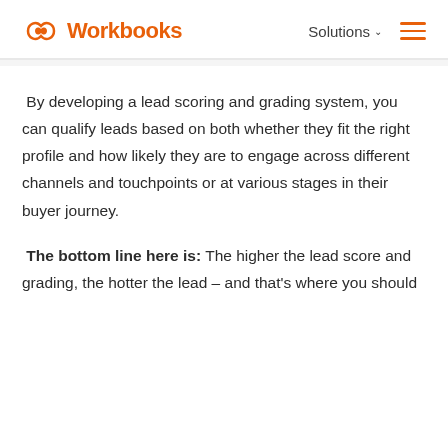Workbooks — Solutions
By developing a lead scoring and grading system, you can qualify leads based on both whether they fit the right profile and how likely they are to engage across different channels and touchpoints or at various stages in their buyer journey.
The bottom line here is: The higher the lead score and grading, the hotter the lead – and that's where you should